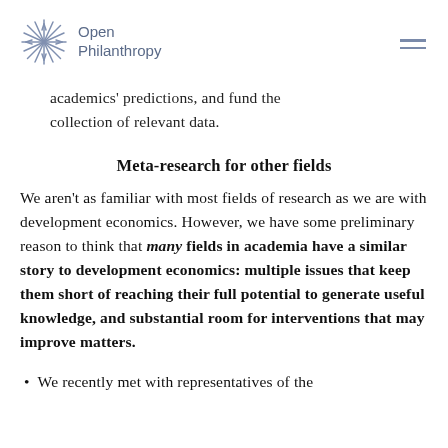Open Philanthropy
academics' predictions, and fund the collection of relevant data.
Meta-research for other fields
We aren't as familiar with most fields of research as we are with development economics. However, we have some preliminary reason to think that many fields in academia have a similar story to development economics: multiple issues that keep them short of reaching their full potential to generate useful knowledge, and substantial room for interventions that may improve matters.
We recently met with representatives of the